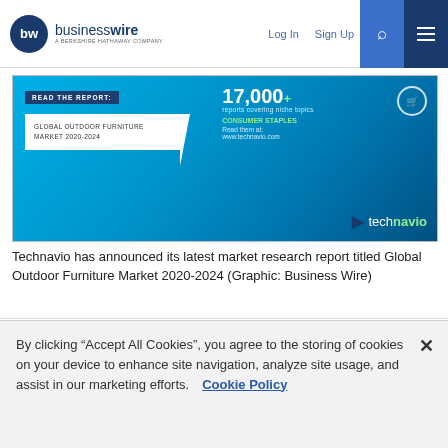businesswire - A BERKSHIRE HATHAWAY COMPANY | Log In | Sign Up
[Figure (infographic): Technavio banner ad for Global Outdoor Furniture Market 2020-2024 report. Blue gradient background with '17,000+ reports covering niche topics' text, 'CONSUMER STAPLES' label, and Technavio logo.]
Technavio has announced its latest market research report titled Global Outdoor Furniture Market 2020-2024 (Graphic: Business Wire)
[Figure (infographic): Two thumbnails side by side: left shows a dark blue/green infographic chart thumbnail for the Technavio report; right shows the Technavio logo on white background.]
June 10, 2020 06:55 PM Eastern Daylight Time
By clicking “Accept All Cookies”, you agree to the storing of cookies on your device to enhance site navigation, analyze site usage, and assist in our marketing efforts. Cookie Policy